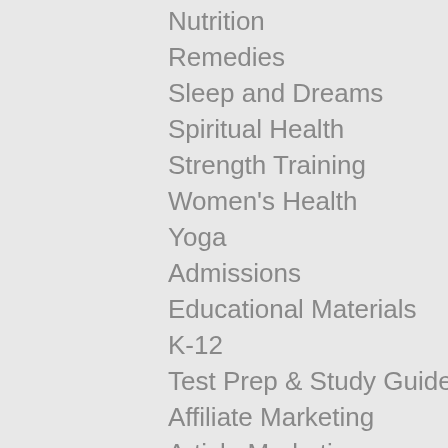Nutrition
Remedies
Sleep and Dreams
Spiritual Health
Strength Training
Women's Health
Yoga
Admissions
Educational Materials
K-12
Test Prep & Study Guides
Affiliate Marketing
Article Marketing
Auctions
Banners
Blog Marketing
Classified Advertising